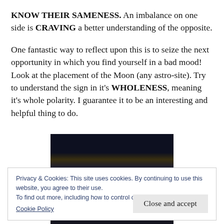KNOW THEIR SAMENESS.  An imbalance on one side is CRAVING a better understanding of the opposite.
One fantastic way to reflect upon this is to seize the next opportunity in which you find yourself in a bad mood!  Look at the placement of the Moon (any astro-site).  Try to understand the sign in it's WHOLENESS, meaning it's whole polarity.  I guarantee it to be an interesting and helpful thing to do.
[Figure (photo): Dark night sky photograph, partially visible, showing dark blue-black sky with a faint light glow near the horizon]
Privacy & Cookies: This site uses cookies. By continuing to use this website, you agree to their use.
To find out more, including how to control cookies, see here:
Cookie Policy
Close and accept